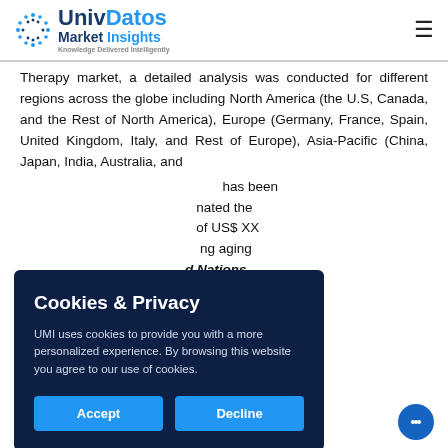UnivDatos Market Insights
Therapy market, a detailed analysis was conducted for different regions across the globe including North America (the U.S, Canada, and the Rest of North America), Europe (Germany, France, Spain, United Kingdom, Italy, and Rest of Europe), Asia-Pacific (China, Japan, India, Australia, and ... has been ...nated the ...of US$ XX ...ng aging ...d Nations, ...ove 60 is ...2050 and ...from 962 ...50 and 3.1
Cookies & Privacy
UMI uses cookies to provide you with a more personalized experience. By browsing this website you agree to our use of cookies.
Accept | Decline